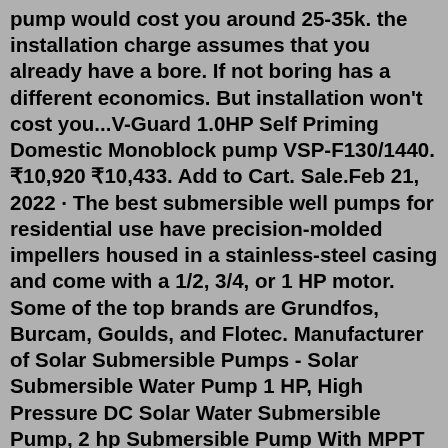pump would cost you around 25-35k. the installation charge assumes that you already have a bore. If not boring has a different economics. But installation won't cost you...V-Guard 1.0HP Self Priming Domestic Monoblock pump VSP-F130/1440. ₹10,920 ₹10,433. Add to Cart. Sale.Feb 21, 2022 · The best submersible well pumps for residential use have precision-molded impellers housed in a stainless-steel casing and come with a 1/2, 3/4, or 1 HP motor. Some of the top brands are Grundfos, Burcam, Goulds, and Flotec. Manufacturer of Solar Submersible Pumps - Solar Submersible Water Pump 1 HP, High Pressure DC Solar Water Submersible Pump, 2 hp Submersible Pump With MPPT Controller and 2 hp Solar DC Submersible Pump With MPPT Controller offered by ATSE Solutions Private Limited, Noida, Uttar Pradesh. CRI Submersible Pumps How To Guide ... CRI Fluid Systems Autralia Pty Limited Submersible pumps. CRI S4S-1/14 - 0.37 KW ... CRI S4S-5/25 - 2.2 KW Three phase 415v. Price in INR